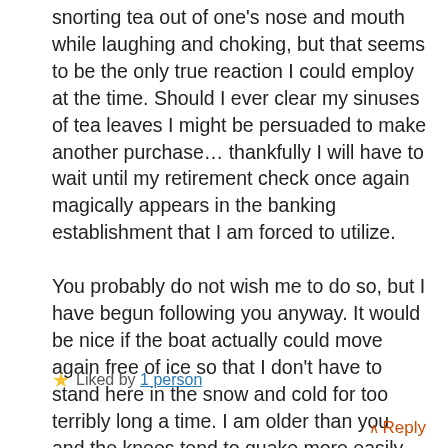snorting tea out of one's nose and mouth while laughing and choking, but that seems to be the only true reaction I could employ at the time. Should I ever clear my sinuses of tea leaves I might be persuaded to make another purchase… thankfully I will have to wait until my retirement check once again magically appears in the banking establishment that I am forced to utilize. You probably do not wish me to do so, but I have begun following you anyway. It would be nice if the boat actually could move again free of ice so that I don't have to stand here in the snow and cold for too terribly long a time. I am older than you and the knees tend to quake more easily these days. Carry on.
Liked by 1 person
Reply